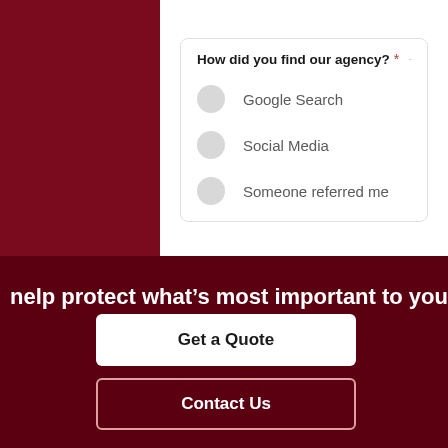How did you find our agency? *
Google Search
Social Media
Someone referred me
Date Quote Needed *
help protect what’s most important to you.  We
Get a Quote
Contact Us